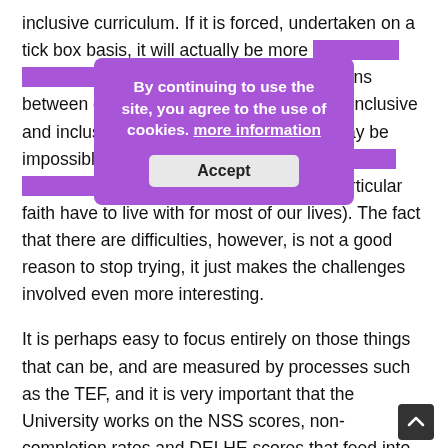inclusive curriculum. If it is forced, undertaken on a tick box basis, it will actually be more detrimental than beneficial. There will always be tensions between different things including LGBTQ inclusive and inclusive of various religions, and it may be impossible to achieve (a tension that many of us who identify as both LGBTQ and with a particular faith have to live with for most of our lives). The fact that there are difficulties, however, is not a good reason to stop trying, it just makes the challenges involved even more interesting.
It is perhaps easy to focus entirely on those things that can be, and are measured by processes such as the TEF, and it is very important that the University works on the NSS scores, non-completion rates and DELHE scores that feed into the TEF. I also think, however, that we need to keep an eye on the wider issues, the kind of community that we want to be and the kind of graduates that we want to produce. I think that these questions of inclusivity need to be higher up the national agenda, and for that reason it is so very important
[Figure (screenshot): Cookie consent overlay with purple background. Text reads 'By continuing to use the site, you agree to the use of cookies. more information' with an Accept button below.]